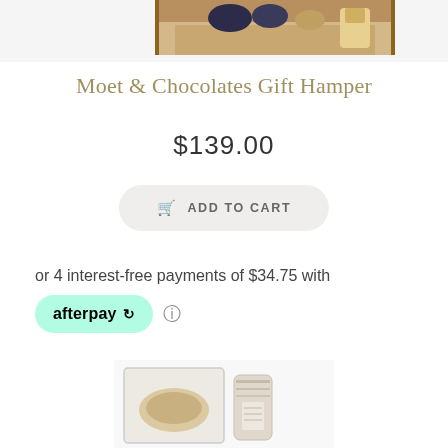[Figure (photo): Top portion of a gift hamper product photo, partially cropped at top of page]
Moet & Chocolates Gift Hamper
$139.00
ADD TO CART
or 4 interest-free payments of $34.75 with
[Figure (logo): Afterpay logo badge in teal/mint green rounded pill shape with afterpay arrow icon]
[Figure (photo): Bottom portion of another product photo showing packaged items, cropped at bottom of page]